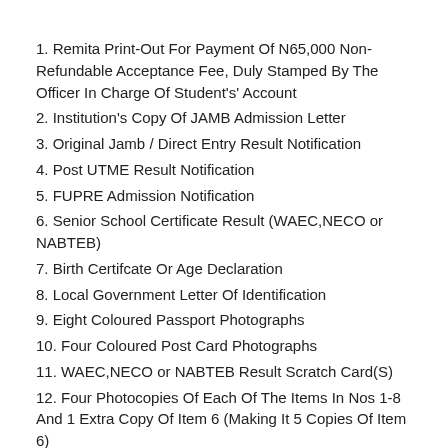1. Remita Print-Out For Payment Of N65,000 Non-Refundable Acceptance Fee, Duly Stamped By The Officer In Charge Of Student's' Account
2. Institution's Copy Of JAMB Admission Letter
3. Original Jamb / Direct Entry Result Notification
4. Post UTME Result Notification
5. FUPRE Admission Notification
6. Senior School Certificate Result (WAEC,NECO or NABTEB)
7. Birth Certifcate Or Age Declaration
8. Local Government Letter Of Identification
9. Eight Coloured Passport Photographs
10. Four Coloured Post Card Photographs
11. WAEC,NECO or NABTEB Result Scratch Card(S)
12. Four Photocopies Of Each Of The Items In Nos 1-8 And 1 Extra Copy Of Item 6 (Making It 5 Copies Of Item 6)
Procedure For The Clearance and Registration of New Students